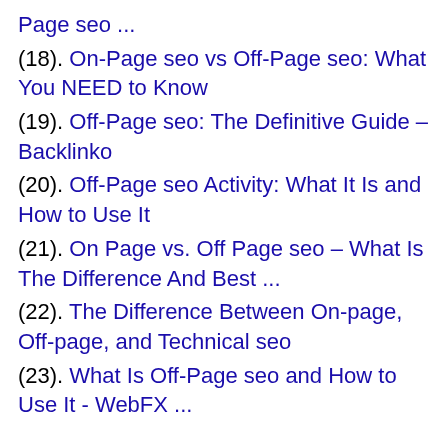Page seo ...
(18). On-Page seo vs Off-Page seo: What You NEED to Know
(19). Off-Page seo: The Definitive Guide – Backlinko
(20). Off-Page seo Activity: What It Is and How to Use It
(21). On Page vs. Off Page seo – What Is The Difference And Best ...
(22). The Difference Between On-page, Off-page, and Technical seo
(23). What Is Off-Page seo and How to Use It - WebFX ...